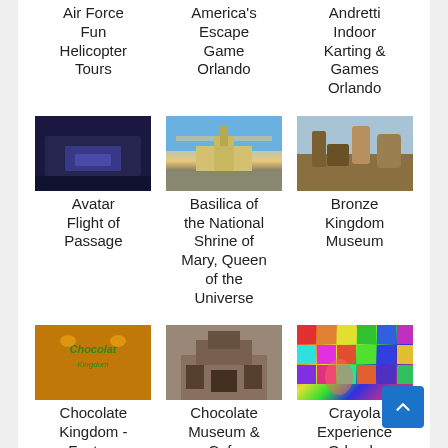Air Force Fun Helicopter Tours
America's Escape Game Orlando
Andretti Indoor Karting & Games Orlando
[Figure (photo): Interior photo of Avatar Flight of Passage attraction]
Avatar Flight of Passage
[Figure (photo): Exterior photo of Basilica of the National Shrine of Mary, Queen of the Universe at dusk]
Basilica of the National Shrine of Mary, Queen of the Universe
[Figure (photo): Photo of elephants and giraffes at Bronze Kingdom Museum]
Bronze Kingdom Museum
[Figure (photo): Chocolate Kingdom factory sign with gold background]
Chocolate Kingdom - Factory
[Figure (photo): Exterior of Chocolate Museum & Cafe building]
Chocolate Museum & Cafe
[Figure (photo): Colorful tiled wall with person at Crayola Experience Orlando]
Crayola Experience Orlando